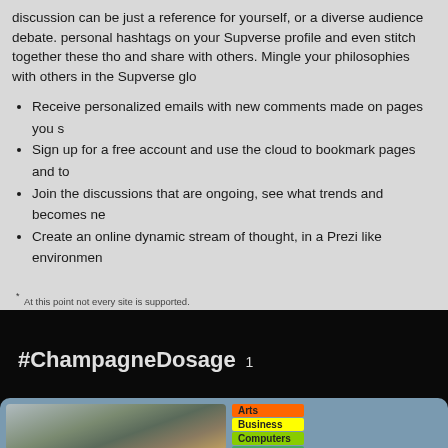discussion can be just a reference for yourself, or a diverse audience debate. personal hashtags on your Supverse profile and even stitch together these thoughts and share with others. Mingle your philosophies with others in the Supverse glo
Receive personalized emails with new comments made on pages you s
Sign up for a free account and use the cloud to bookmark pages and to
Join the discussions that are ongoing, see what trends and becomes ne
Create an online dynamic stream of thought, in a Prezi like environment
* At this point not every site is supported.
#ChampagneDosage 1
[Figure (photo): A modern dark modular building in a field with trees in background, alongside a colorful category list including Arts, Business, Computers, Games, Health, Home, Recreation, Science]